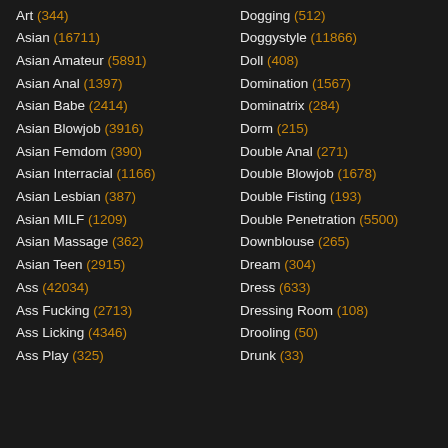Art (344)
Asian (16711)
Asian Amateur (5891)
Asian Anal (1397)
Asian Babe (2414)
Asian Blowjob (3916)
Asian Femdom (390)
Asian Interracial (1166)
Asian Lesbian (387)
Asian MILF (1209)
Asian Massage (362)
Asian Teen (2915)
Ass (42034)
Ass Fucking (2713)
Ass Licking (4346)
Ass Play (325)
Dogging (512)
Doggystyle (11866)
Doll (408)
Domination (1567)
Dominatrix (284)
Dorm (215)
Double Anal (271)
Double Blowjob (1678)
Double Fisting (193)
Double Penetration (5500)
Downblouse (265)
Dream (304)
Dress (633)
Dressing Room (108)
Drooling (50)
Drunk (33)